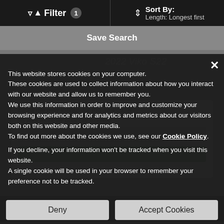Filter 1 | Sort By: Length: Longest first
Save Search
2022 Viko S22
This website stores cookies on your computer. These cookies are used to collect information about how you interact with our website and allow us to remember you. We use this information in order to improve and customize your browsing experience and for analytics and metrics about our visitors both on this website and other media. To find out more about the cookies we use, see our Cookie Policy.
If you decline, your information won't be tracked when you visit this website. A single cookie will be used in your browser to remember your preference not to be tracked.
Deny
Accept Cookies